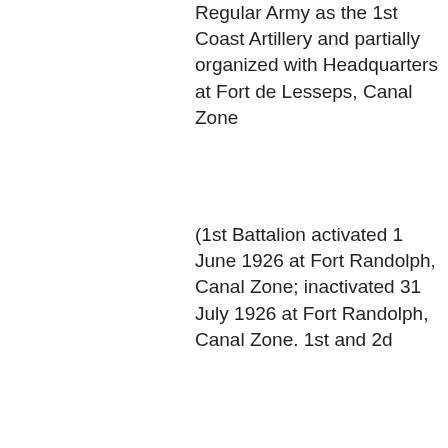Regular Army as the 1st Coast Artillery and partially organized with Headquarters at Fort de Lesseps, Canal Zone
(1st Battalion activated 1 June 1926 at Fort Randolph, Canal Zone; inactivated 31 July 1926 at Fort Randolph, Canal Zone. 1st and 2d
Battalions activated 15 April 1932 at Forts Randolph and Sherman, Canal Zone, respectively. 3d Battalion activated 15 March 1950 at Fort Randolph, Canal Zone. 1st and 2d Battalions inactivated 30 March 1941 at Forts Sherman and Randolph, Canal Zone, respectively; activated 17 April 1942 at Fort Sherman, Canal Zone)